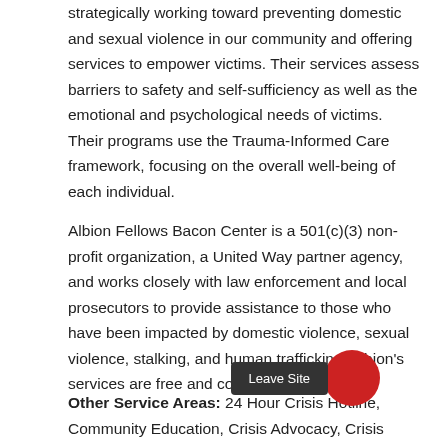strategically working toward preventing domestic and sexual violence in our community and offering services to empower victims. Their services assess barriers to safety and self-sufficiency as well as the emotional and psychological needs of victims. Their programs use the Trauma-Informed Care framework, focusing on the overall well-being of each individual.
Albion Fellows Bacon Center is a 501(c)(3) non-profit organization, a United Way partner agency, and works closely with law enforcement and local prosecutors to provide assistance to those who have been impacted by domestic violence, sexual violence, stalking, and human trafficking. Albion's services are free and confidential.
Other Service Areas: 24 Hour Crisis Hotline, Community Education, Crisis Advocacy, Crisis Response, Legal Advocacy, Prevention Programs, Shelter